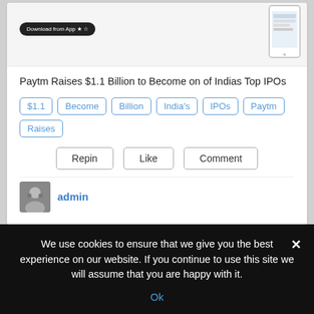[Figure (screenshot): Top of a card showing a dark download button on the left and a phone screenshot on the right against a light gray background]
Paytm Raises $1.1 Billion to Become on of Indias Top IPOs
$1.1
Become
Billion
India's
IPOs
Paytm
Raises
Repin  Like  Comment
admin
[Figure (screenshot): Card showing EU logo with thumbs up and article about Ireland giving illegal preferential tax treatment to Apple, with colorful background at bottom]
We use cookies to ensure that we give you the best experience on our website. If you continue to use this site we will assume that you are happy with it.
Ok